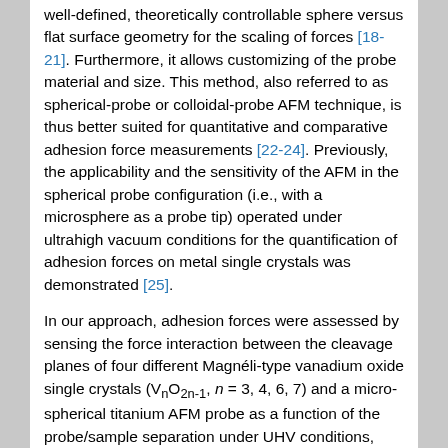well-defined, theoretically controllable sphere versus flat surface geometry for the scaling of forces [18-21]. Furthermore, it allows customizing of the probe material and size. This method, also referred to as spherical-probe or colloidal-probe AFM technique, is thus better suited for quantitative and comparative adhesion force measurements [22-24]. Previously, the applicability and the sensitivity of the AFM in the spherical probe configuration (i.e., with a microsphere as a probe tip) operated under ultrahigh vacuum conditions for the quantification of adhesion forces on metal single crystals was demonstrated [25].
In our approach, adhesion forces were assessed by sensing the force interaction between the cleavage planes of four different Magnéli-type vanadium oxide single crystals (VnO2n-1, n = 3, 4, 6, 7) and a micro-spherical titanium AFM probe as a function of the probe/sample separation under UHV conditions, where environmental influence is eliminated and advantage of surface preparation and analysis tools can be taken. The MIT was induced by appropriate variation of temperature. In particular, we report on the change of the adhesion force when crossing the MIT temperature and